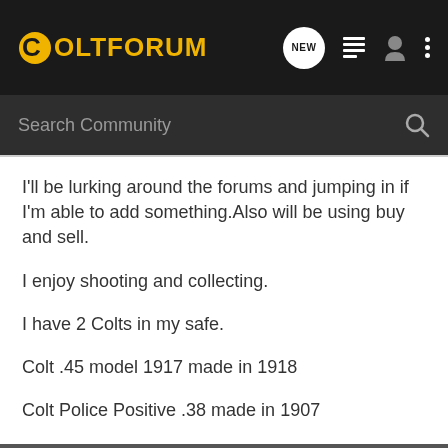[Figure (logo): ColtForum logo with golden C icon and yellow bold text, on dark header bar with navigation icons (NEW bubble, list icon, user icon, dots menu)]
[Figure (screenshot): Search Community input bar with magnifying glass icon on dark background]
I'll be lurking around the forums and jumping in if I'm able to add something.Also will be using buy and sell.
I enjoy shooting and collecting.
I have 2 Colts in my safe.
Colt .45 model 1917 made in 1918
Colt Police Positive .38 made in 1907
Here's some pics of the .38